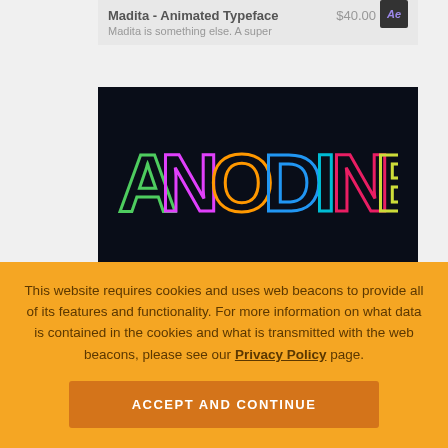Madita - Animated Typeface   $40.00
Madita is something else. A super
[Figure (illustration): Dark background image showing the word ANODINE in colorful neon-style animated typeface letters on a near-black background]
Animography
Anodine - Animated Typeface   $22.00
Anodine is a vibrant springy animated
This website requires cookies and uses web beacons to provide all of its features and functionality. For more information on what data is contained in the cookies and what is transmitted with the web beacons, please see our Privacy Policy page.
ACCEPT AND CONTINUE